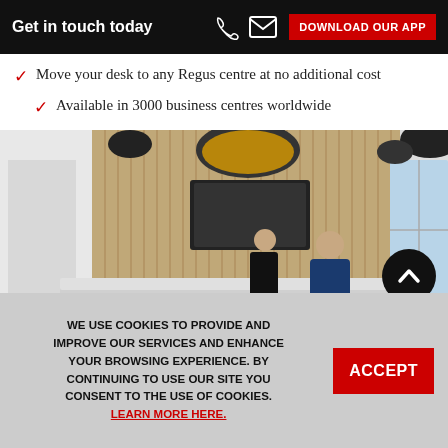Get in touch today   DOWNLOAD OUR APP
Move your desk to any Regus centre at no additional cost
Available in 3000 business centres worldwide
[Figure (photo): Modern office reception area with pendant lights, wood-slat wall, reception desk with two staff members and a client in a suit]
WE USE COOKIES TO PROVIDE AND IMPROVE OUR SERVICES AND ENHANCE YOUR BROWSING EXPERIENCE. BY CONTINUING TO USE OUR SITE YOU CONSENT TO THE USE OF COOKIES. LEARN MORE HERE.